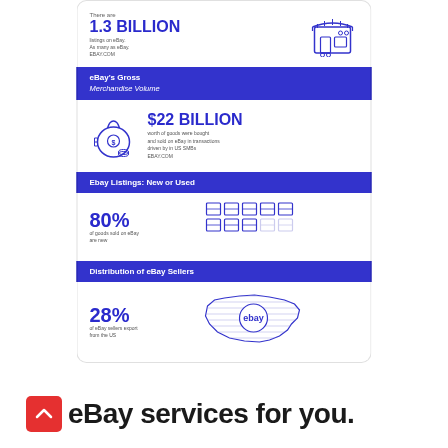[Figure (infographic): eBay statistics infographic showing: 1.3 Billion listings on eBay (with store icon), eBay's Gross Merchandise Volume of $22 Billion (with money bag icon), Ebay Listings New or Used with 80% of goods sold on eBay are new (with box icons), Distribution of eBay Sales with 28% of eBay sellers export from the US (with USA map icon and eBay logo)]
eBay services for you.